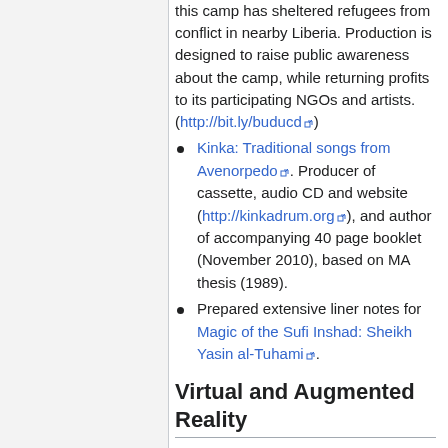this camp has sheltered refugees from conflict in nearby Liberia. Production is designed to raise public awareness about the camp, while returning profits to its participating NGOs and artists. (http://bit.ly/buducd )
Kinka: Traditional songs from Avenorpedo. Producer of cassette, audio CD and website (http://kinkadrum.org), and author of accompanying 40 page booklet (November 2010), based on MA thesis (1989).
Prepared extensive liner notes for Magic of the Sufi Inshad: Sheikh Yasin al-Tuhami.
Virtual and Augmented Reality
A Virtual Musical Exhibition: The